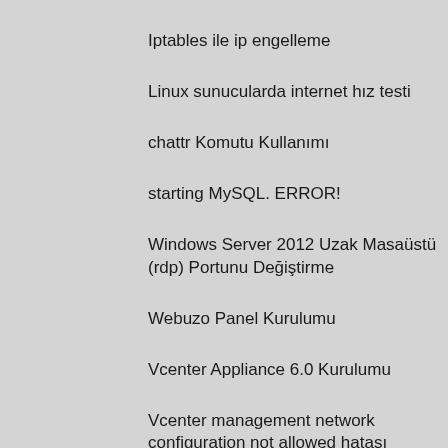Iptables ile ip engelleme
Linux sunucularda internet hız testi
chattr Komutu Kullanımı
starting MySQL. ERROR!
Windows Server 2012 Uzak Masaüstü (rdp) Portunu Değiştirme
Webuzo Panel Kurulumu
Vcenter Appliance 6.0 Kurulumu
Vcenter management network configuration not allowed hatası